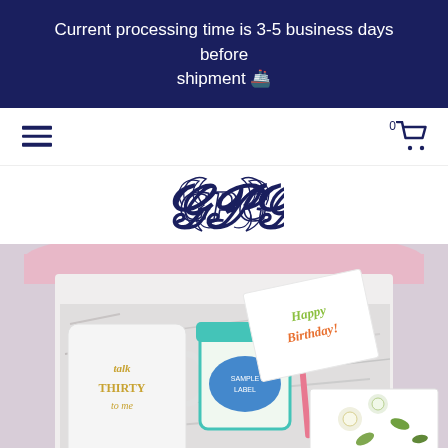Current processing time is 3-5 business days before shipment 🚢
[Figure (logo): Monogram logo with ornate script letters GPG in navy blue]
[Figure (photo): A birthday gift box opened to reveal a white mug reading 'talk THIRTY to me' in gold lettering, a jar of candy with teal lid, a Happy Birthday card, and a floral decorated box, all nestled in shredded paper filler]